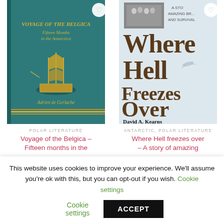[Figure (photo): Book cover of 'Voyage of the Belgica – Fifteen months in the Antarctica' by Adrien de Gerlache, teal/dark blue hardcover with gold ship illustration]
[Figure (photo): Book cover of 'Where Hell Freezes Over – A story of amazing bravery and survival' by David A. Kearns, light blue cover with large dark brown serif text]
POLAR LITERATURE
Voyage of the Belgica – Fifteen months in the
ANTARCTIC, POLAR LITERATURE
Where Hell freezes over – A story of amazing
This website uses cookies to improve your experience. We'll assume you're ok with this, but you can opt-out if you wish. Cookie settings ACCEPT